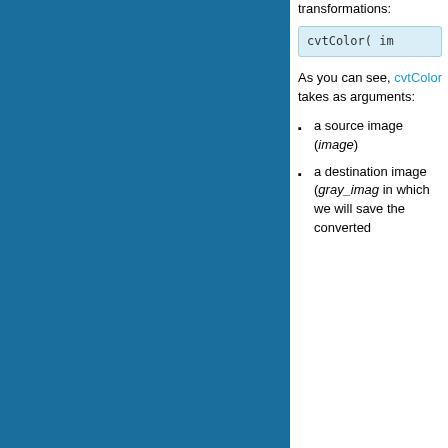[Figure (photo): Large teal/dark blue rectangle occupying the left portion of the page]
transformations:
cvtColor( im
As you can see, cvtColor takes as arguments:
a source image (image)
a destination image (gray_image) in which we will save the converted